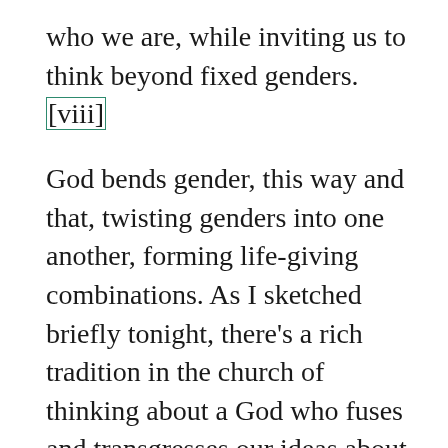who we are, while inviting us to think beyond fixed genders.[viii]
God bends gender, this way and that, twisting genders into one another, forming life-giving combinations. As I sketched briefly tonight, there's a rich tradition in the church of thinking about a God who fuses and transgresses our ideas about gender. When we say that God is a Father, we have to imagine someone with womb. But more than just imagining God in this way, as Christians we are invited into a relationship with this mother, into our mother, who holds us within her — this One who lives for our sake, letting her life flow into ours, providing a place for our bodies